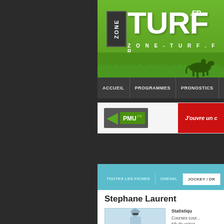[Figure (logo): Zone Turf .fr logo on green banner with horse racing silhouette]
ACCUEIL | PROGRAMMES | PRONOSTICS | PER...
[Figure (other): PMU.fr advertisement banner with 'J'ouvre un c...' call to action button in red]
Fiches Techniques
TOUTES LES FICHES | CHEVAL | JOCKEY / DR...
Stephane Laurent
Statistiqu...
Courses cour...
Nb de victoir...